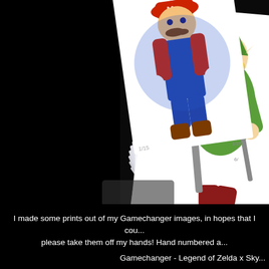[Figure (photo): A photograph on a black background showing a fan of printed cards/sheets. The prints feature Nintendo video game characters including Mario (in blue overalls and red shirt) in the upper left area, and Link from The Legend of Zelda (in green tunic holding a sword) prominently on the right side. The prints are fanned out showing multiple layers. The background is black.]
I made some prints out of my Gamechanger images, in hopes that I could please take them off my hands! Hand numbered a...
Gamechanger - Legend of Zelda x Sky...